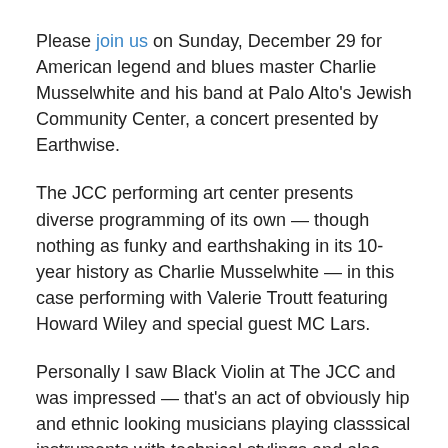Please join us on Sunday, December 29 for American legend and blues master Charlie Musselwhite and his band at Palo Alto's Jewish Community Center, a concert presented by Earthwise.
The JCC performing art center presents diverse programming of its own — though nothing as funky and earthshaking in its 10-year history as Charlie Musselwhite — in this case performing with Valerie Troutt featuring Howard Wiley and special guest MC Lars.
Personally I saw Black Violin at The JCC and was impressed — that's an act of obviously hip and ethnic looking musicians playing classsical instruments with technical stylings and also keeping it real or street. I paid $50 per ticket which seemed high; I think the families with kids paid less or were comped in. {Actually, I just looked it